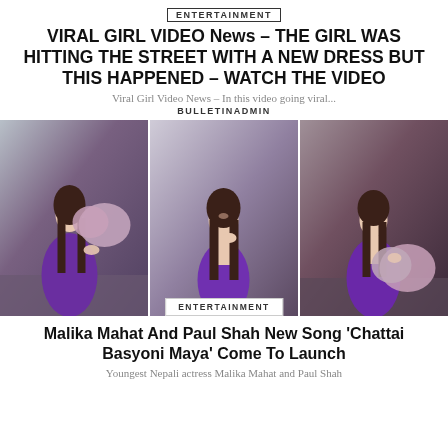ENTERTAINMENT
VIRAL GIRL VIDEO News – THE GIRL WAS HITTING THE STREET WITH A NEW DRESS BUT THIS HAPPENED – WATCH THE VIDEO
Viral Girl Video News – In this video going viral...
BULLETINADMIN
[Figure (photo): Three photos of a young woman in a purple mini dress holding a pink heart-shaped balloon, in different poses]
ENTERTAINMENT
Malika Mahat And Paul Shah New Song 'Chattai Basyoni Maya' Come To Launch
Youngest Nepali actress Malika Mahat and Paul Shah